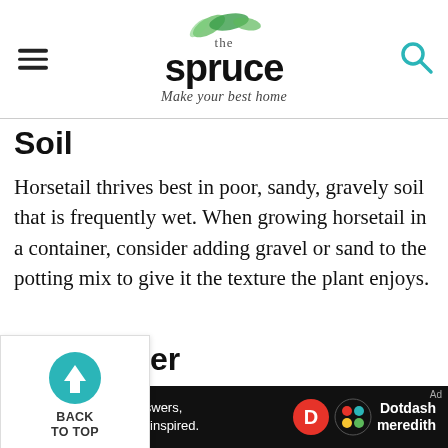the spruce — Make your best home
Soil
Horsetail thrives best in poor, sandy, gravely soil that is frequently wet. When growing horsetail in a container, consider adding gravel or sand to the potting mix to give it the texture the plant enjoys.
Water
When it comes to soil moisture, horsetail prefers soil that is at least moderately wet. It can even grow in standing water up to a depth of
[Figure (other): Back to top navigation button with teal circle arrow icon and BACK TO TOP label]
We help people find answers, solve problems and get inspired. Dotdash meredith